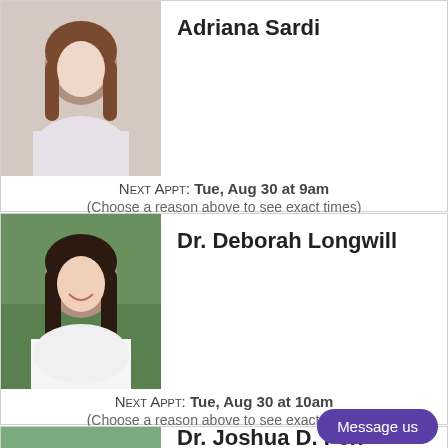Adriana Sardi
NEXT APPT: Tue, Aug 30 at 9am
(Choose a reason above to see exact times)
Dr. Deborah Longwill
NEXT APPT: Tue, Aug 30 at 10am
(Choose a reason above to see exact times)
Dr. Joshua D. Fox
Message us